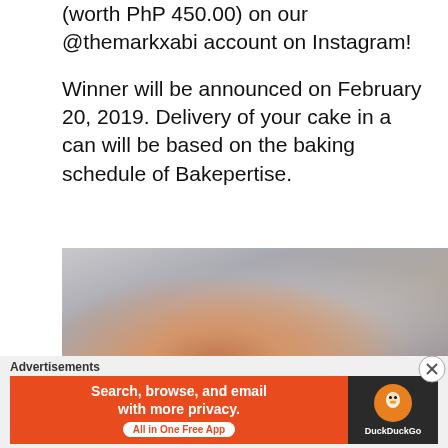(worth PhP 450.00) on our @themarkxabi account on Instagram!
Winner will be announced on February 20, 2019. Delivery of your cake in a can will be based on the baking schedule of Bakepertise.
[Figure (photo): Close-up photo of hands kneading or holding dough wrapped in plastic, on a grey/stone surface background.]
Advertisements
[Figure (other): DuckDuckGo advertisement banner: 'Search, browse, and email with more privacy. All in One Free App' on orange background with DuckDuckGo logo on dark background.]